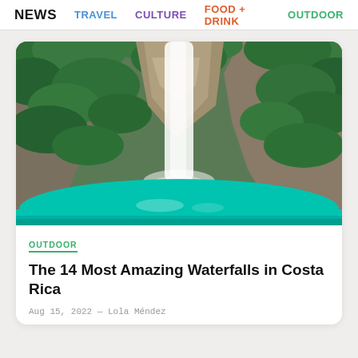NEWS  TRAVEL  CULTURE  FOOD + DRINK  OUTDOOR
[Figure (photo): A waterfall cascading down rocky cliffs surrounded by dense green tropical vegetation into a bright turquoise pool below]
OUTDOOR
The 14 Most Amazing Waterfalls in Costa Rica
Aug 15, 2022 — Lola Méndez